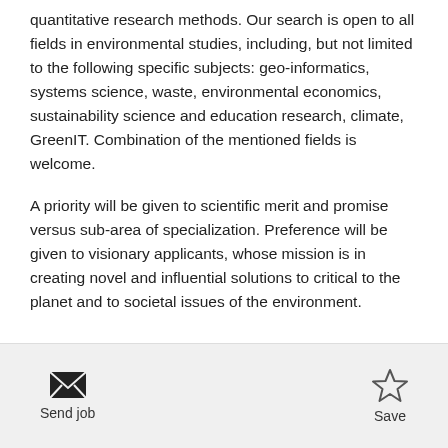quantitative research methods. Our search is open to all fields in environmental studies, including, but not limited to the following specific subjects: geo-informatics, systems science, waste, environmental economics, sustainability science and education research, climate, GreenIT. Combination of the mentioned fields is welcome.
A priority will be given to scientific merit and promise versus sub-area of specialization. Preference will be given to visionary applicants, whose mission is in creating novel and influential solutions to critical to the planet and to societal issues of the environment.
Send job  Save